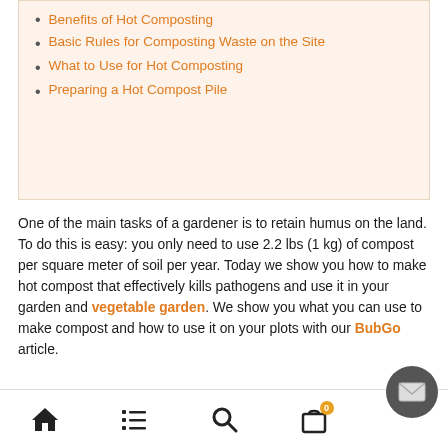Benefits of Hot Composting
Basic Rules for Composting Waste on the Site
What to Use for Hot Composting
Preparing a Hot Compost Pile
One of the main tasks of a gardener is to retain humus on the land. To do this is easy: you only need to use 2.2 lbs (1 kg) of compost per square meter of soil per year. Today we show you how to make hot compost that effectively kills pathogens and use it in your garden and vegetable garden. We show you what you can use to make compost and how to use it on your plots with our BubGo article.
[Figure (infographic): Bottom navigation bar with home icon, list icon, search icon, shopping bag with badge (0), and a circular chat/mail button overlay]